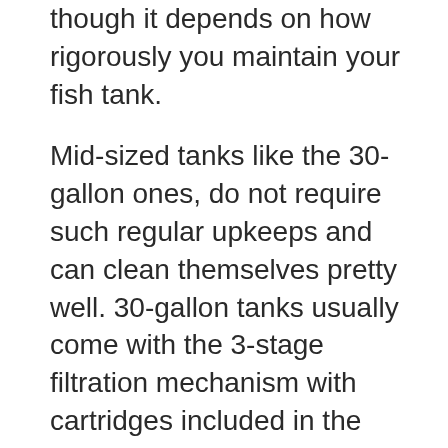though it depends on how rigorously you maintain your fish tank.
Mid-sized tanks like the 30-gallon ones, do not require such regular upkeeps and can clean themselves pretty well. 30-gallon tanks usually come with the 3-stage filtration mechanism with cartridges included in the package.
This 3-stage filtration—mechanical, chemical and biological filtering, ensures your tanks stay clean and healthy.
Remember to not feed too much and too frequently, and before adding any decoration, wash them first in old-tank